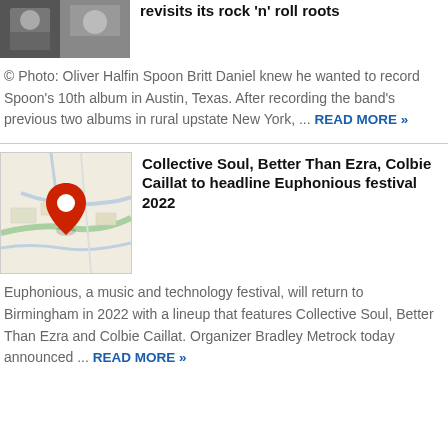[Figure (photo): Photo of Spoon band members at a table]
revisits its rock 'n' roll roots
© Photo: Oliver Halfin Spoon Britt Daniel knew he wanted to record Spoon's 10th album in Austin, Texas. After recording the band's previous two albums in rural upstate New York, ... READ MORE »
[Figure (illustration): Map illustration with a red location pin marker]
Collective Soul, Better Than Ezra, Colbie Caillat to headline Euphonious festival 2022
Euphonious, a music and technology festival, will return to Birmingham in 2022 with a lineup that features Collective Soul, Better Than Ezra and Colbie Caillat. Organizer Bradley Metrock today announced ... READ MORE »